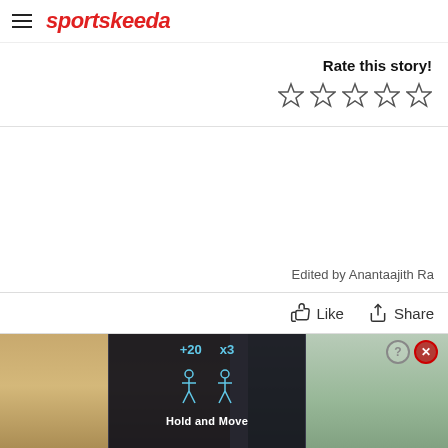sportskeeda
Rate this story!
[Figure (other): Five empty star rating icons]
Edited by Anantaajith Ra
Like   Share
[Figure (screenshot): Advertisement banner showing a game UI with Hold and Move text, forest background, score +20 x3, two player figures, question mark and close button]